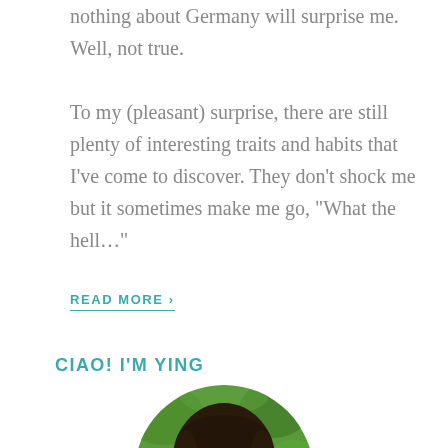nothing about Germany will surprise me. Well, not true.

To my (pleasant) surprise, there are still plenty of interesting traits and habits that I've come to discover. They don't shock me but it sometimes make me go, "What the hell…"
READ MORE ›
CIAO! I'M YING
[Figure (photo): Circular portrait photo of a smiling Asian woman with long dark hair, outdoors with green foliage background.]